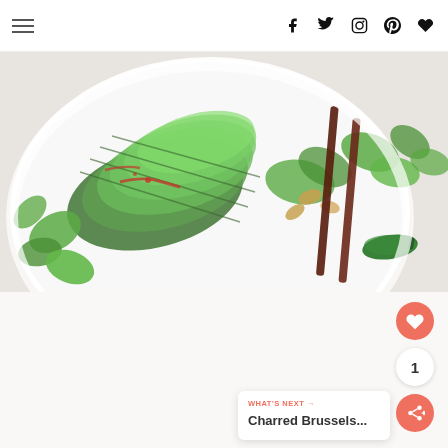Navigation header with hamburger menu and social icons (facebook, twitter, instagram, pinterest, heart/favorite)
[Figure (photo): Overhead view of a white bowl containing sliced avocado with red chili sauce, greens, and almonds, with chopsticks resting across the bowl and a green jalapeño pepper beside it, on a white surface with cilantro garnish]
1
WHAT'S NEXT → Charred Brussels...